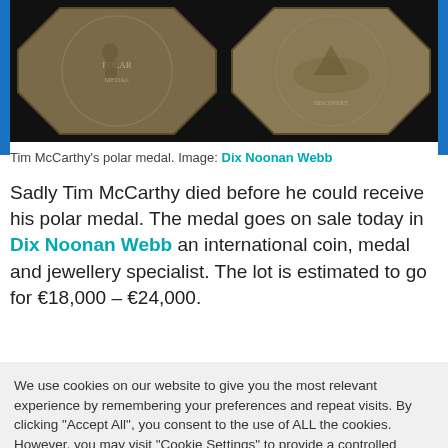[Figure (photo): Two sides of Tim McCarthy's polar medal against a black background — two octagonal coins/medals side by side.]
Tim McCarthy's polar medal. Image: Dix Noonan Webb
Sadly Tim McCarthy died before he could receive his polar medal. The medal goes on sale today in Dix Noonan Webb an international coin, medal and jewellery specialist. The lot is estimated to go for €18,000 – €24,000.
We use cookies on our website to give you the most relevant experience by remembering your preferences and repeat visits. By clicking "Accept All", you consent to the use of ALL the cookies. However, you may visit "Cookie Settings" to provide a controlled consent.